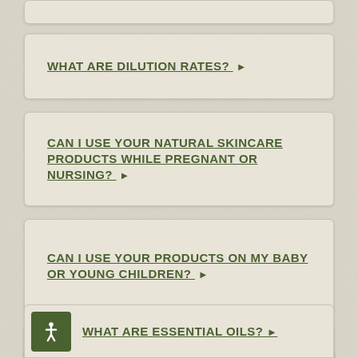WHAT ARE DILUTION RATES?
CAN I USE YOUR NATURAL SKINCARE PRODUCTS WHILE PREGNANT OR NURSING?
CAN I USE YOUR PRODUCTS ON MY BABY OR YOUNG CHILDREN?
I HAVE ALLERGIES WHAT NATURAL SKINCARE PRODUCTS ARE SAFE FOR ME?
WHAT ARE ESSENTIAL OILS?